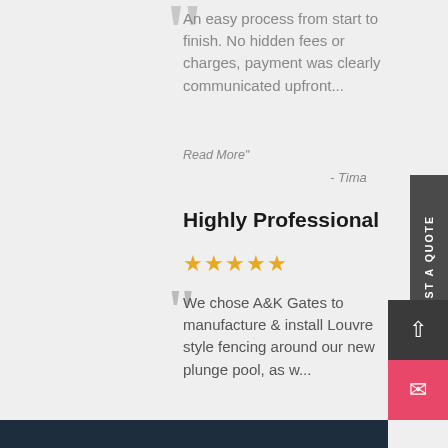An easy process from start to finish. No hidden fees or charges, payment was clearly communicated upfront...
Read More"
- Tima
Highly Professional
[Figure (other): 5 star rating shown as gold stars]
We chose A&K Gates to manufacture & install Louvre style fencing around our new plunge pool, as w...
Read More"
- Julie
[Figure (other): REQUEST A QUOTE vertical sidebar button]
[Figure (other): Scroll to top arrow button (dark) and mail/envelope button (pink/red)]